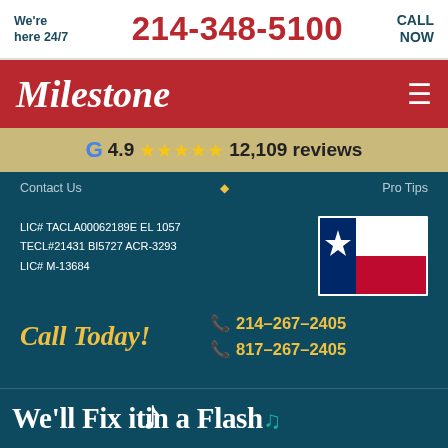We're here 24/7
214-348-5100
CALL NOW
Milestone
4.9 ★★★★★ 12,109 reviews
Contact Us    Pro Tips
LIC# TACLA00062189E EL 1057
TECL#21431 BI5727 ACR-3293
LIC# M-13684
[Figure (illustration): Texas state flag with blue vertical stripe, white star, red and white horizontal stripes]
Call Today!
214-267-2405
817-267-2405
We'll Fix it in a Flash♪